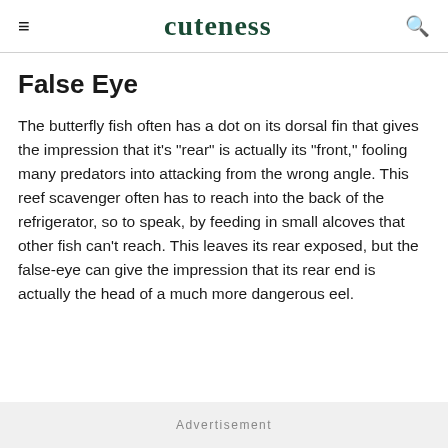cuteness
False Eye
The butterfly fish often has a dot on its dorsal fin that gives the impression that it's "rear" is actually its "front," fooling many predators into attacking from the wrong angle. This reef scavenger often has to reach into the back of the refrigerator, so to speak, by feeding in small alcoves that other fish can't reach. This leaves its rear exposed, but the false-eye can give the impression that its rear end is actually the head of a much more dangerous eel.
Advertisement